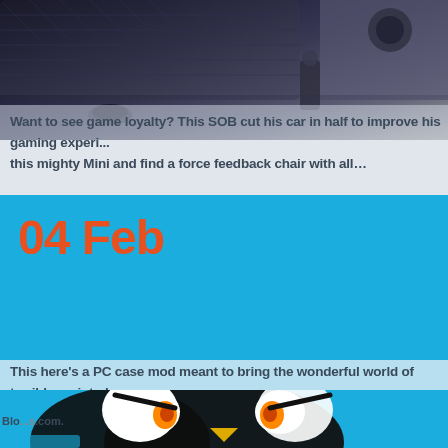[Figure (photo): Close-up photo of dark quilted car seat interior with cup holder and steering wheel visible, dark blue/grey tones]
Want to see game loyalty? This SOB cut his car in half to improve his gaming experi... this mighty Mini and find a force feedback chair with all…
04 Feb
This here's a PC case mod meant to bring the wonderful world of terrible scripted to your home office! The annoyingly bright monstrosity was built by…
[Figure (illustration): Cartoon angry bird character illustration with glowing eyes on blue background, blog watermark visible]
Blo...s.com.